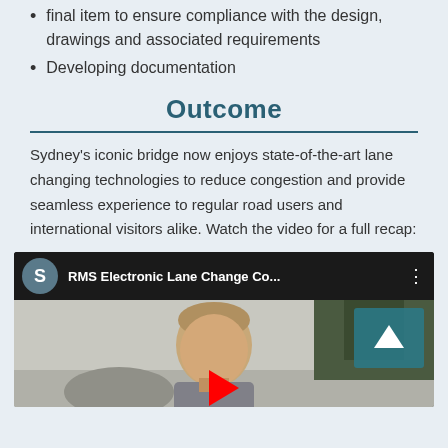final item to ensure compliance with the design, drawings and associated requirements
Developing documentation
Outcome
Sydney's iconic bridge now enjoys state-of-the-art lane changing technologies to reduce congestion and provide seamless experience to regular road users and international visitors alike. Watch the video for a full recap:
[Figure (screenshot): Embedded YouTube video thumbnail showing a man speaking outdoors, with video title 'RMS Electronic Lane Change Co...' and channel avatar 'S']